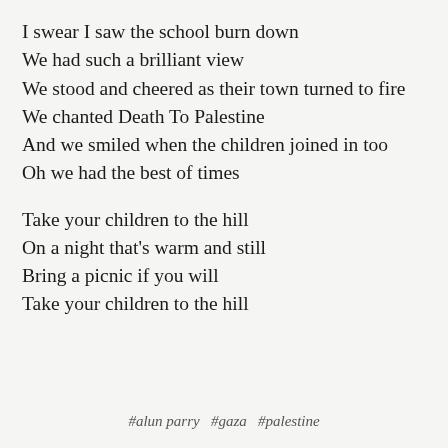I swear I saw the school burn down
We had such a brilliant view
We stood and cheered as their town turned to fire
We chanted Death To Palestine
And we smiled when the children joined in too
Oh we had the best of times

Take your children to the hill
On a night that's warm and still
Bring a picnic if you will
Take your children to the hill
#alun parry  #gaza  #palestine